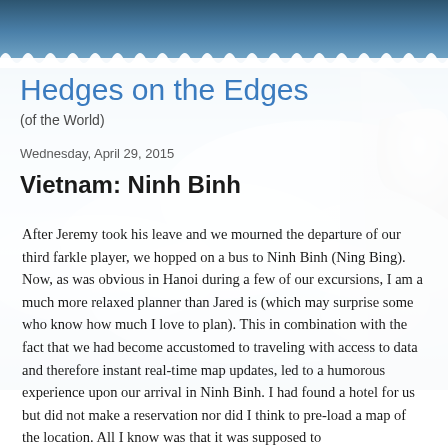[Figure (photo): Background photo of airplane window view showing clouds and sky, with an airplane wing visible on the right side]
Hedges on the Edges
(of the World)
Wednesday, April 29, 2015
Vietnam: Ninh Binh
After Jeremy took his leave and we mourned the departure of our third farkle player, we hopped on a bus to Ninh Binh (Ning Bing). Now, as was obvious in Hanoi during a few of our excursions, I am a much more relaxed planner than Jared is (which may surprise some who know how much I love to plan). This in combination with the fact that we had become accustomed to traveling with access to data and therefore instant real-time map updates, led to a humorous experience upon our arrival in Ninh Binh. I had found a hotel for us but did not make a reservation nor did I think to pre-load a map of the location. All I know was that it was supposed to